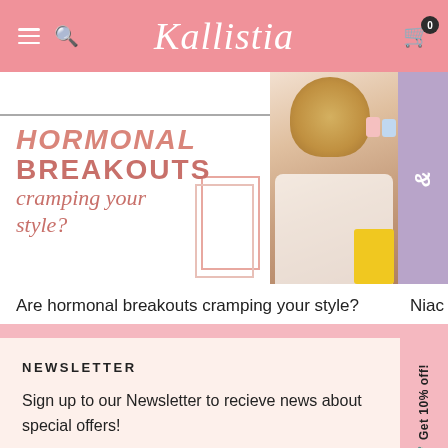Kallistia
[Figure (photo): Banner showing text 'HORMONAL BREAKOUTS cramping your style?' with a woman in white dress seated near a yellow stool with skincare products, and a purple side strip]
Are hormonal breakouts cramping your style?   Niac
NEWSLETTER
Sign up to our Newsletter to recieve news about special offers!